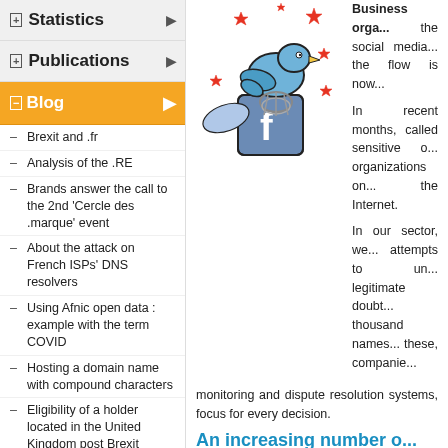Statistics
Publications
Blog
Brexit and .fr
Analysis of the .RE
Brands answer the call to the 2nd 'Cercle des .marque' event
About the attack on French ISPs' DNS resolvers
Using Afnic open data : example with the term COVID
Hosting a domain name with compound characters
Eligibility of a holder located in the United Kingdom post Brexit
Can compound characters be used in a domain name?
[Figure (illustration): Cartoon illustration of a Twitter bird tangled in yarn/rope sitting on a Facebook 'f' logo cube, with red star shapes scattered around]
Business orga... the social media... the flow is now ...
In recent months, called sensitive o... organizations on... the Internet.
In our sector, we... attempts to un... legitimate doubt... thousand names... these, companie... monitoring and dispute resolution systems, focus for every decision.
An increasing number o...
Reserved for use by major corporations o... reputation management systems are gradu... to consumers increasingly seeking opinion... SOHOs / SMEs for their e-reputation (So... skills is also due to the growing number... occurring on the digital media. For 2014 a... (Source: Reputationlab).
According to that study, the summer break... crises, illustrating why the monitoring o...